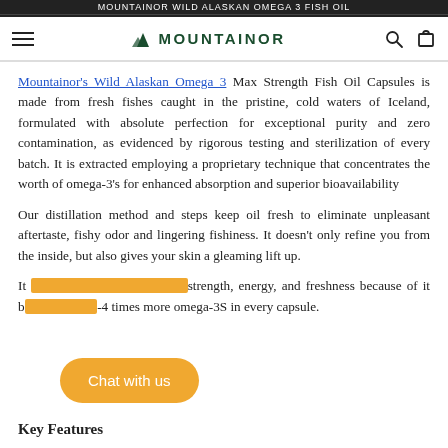Mountainor
Mountainor's Wild Alaskan Omega 3 Max Strength Fish Oil Capsules is made from fresh fishes caught in the pristine, cold waters of Iceland, formulated with absolute perfection for exceptional purity and zero contamination, as evidenced by rigorous testing and sterilization of every batch. It is extracted employing a proprietary technique that concentrates the worth of omega-3's for enhanced absorption and superior bioavailability
Our distillation method and steps keep oil fresh to eliminate unpleasant aftertaste, fishy odor and lingering fishiness. It doesn't only refine you from the inside, but also gives your skin a gleaming lift up.
It [gives] strength, energy, and freshness because of it b[oasts] 3-4 times more omega-3S in every capsule.
Key Features